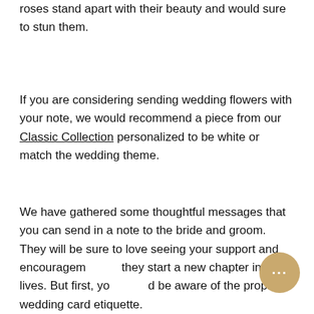roses stand apart with their beauty and would sure to stun them.
If you are considering sending wedding flowers with your note, we would recommend a piece from our Classic Collection personalized to be white or match the wedding theme.
We have gathered some thoughtful messages that you can send in a note to the bride and groom. They will be sure to love seeing your support and encouragement as they start a new chapter in their lives. But first, you should be aware of the proper wedding card etiquette.